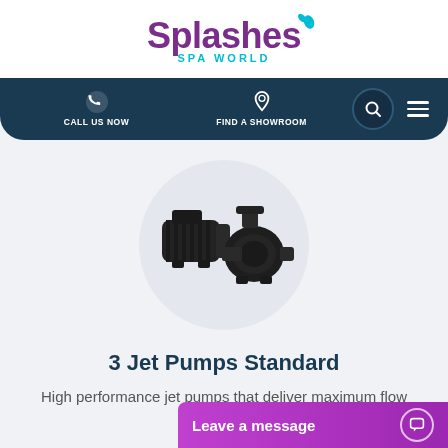[Figure (logo): Splashes Spa World logo with purple Splashes text and teal SPA WORLD subtitle]
CALL US NOW   FIND A SHOWROOM
[Figure (photo): Black jet pump motor unit photographed against white background, shown inside a circular frame]
3 Jet Pumps Standard
High performance jet pumps that deliver maximum flow
[Figure (other): Leave a message chat button in purple gradient with chat icon]